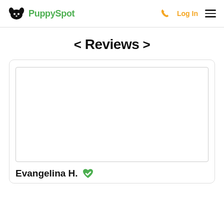PuppySpot
< Reviews >
[Figure (photo): White/blank image placeholder inside a review card]
Evangelina H.